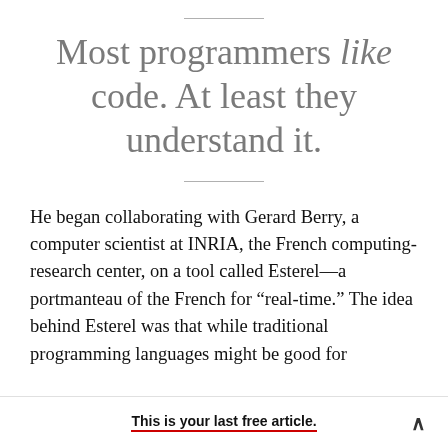Most programmers like code. At least they understand it.
He began collaborating with Gerard Berry, a computer scientist at INRIA, the French computing-research center, on a tool called Esterel—a portmanteau of the French for “real-time.” The idea behind Esterel was that while traditional programming languages might be good for
This is your last free article.